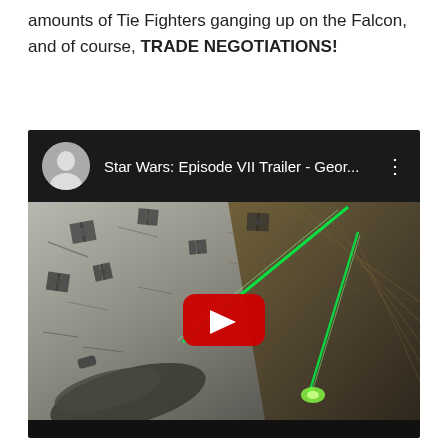amounts of Tie Fighters ganging up on the Falcon, and of course, TRADE NEGOTIATIONS!
[Figure (screenshot): Embedded YouTube video player showing Star Wars: Episode VII Trailer - Geor... with a thumbnail of TIE Fighters and the Millennium Falcon with green laser beams, and a red YouTube play button in the center.]